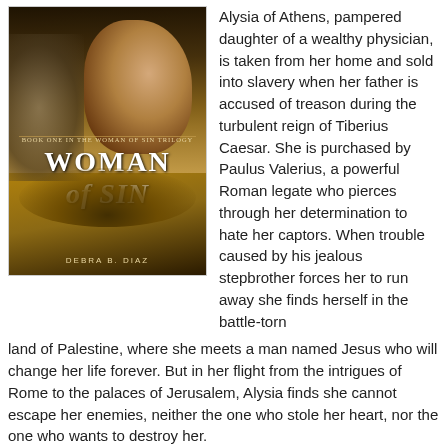[Figure (illustration): Book cover for 'Woman of Sin' by Debra B. Diaz. Shows a woman with dark hair against a dramatic background, with the text 'Book One in the Woman of Sin Trilogy', 'WOMAN of SIN', and author name 'DEBRA B. DIAZ'. A crown of thorns is visible at the bottom.]
Alysia of Athens, pampered daughter of a wealthy physician, is taken from her home and sold into slavery when her father is accused of treason during the turbulent reign of Tiberius Caesar. She is purchased by Paulus Valerius, a powerful Roman legate who pierces through her determination to hate her captors. When trouble caused by his jealous stepbrother forces her to run away she finds herself in the battle-torn land of Palestine, where she meets a man named Jesus who will change her life forever. But in her flight from the intrigues of Rome to the palaces of Jerusalem, Alysia finds she cannot escape her enemies, neither the one who stole her heart, nor the one who wants to destroy her.
Free as of 11/15/19 for Kindle. Click here to find out if this